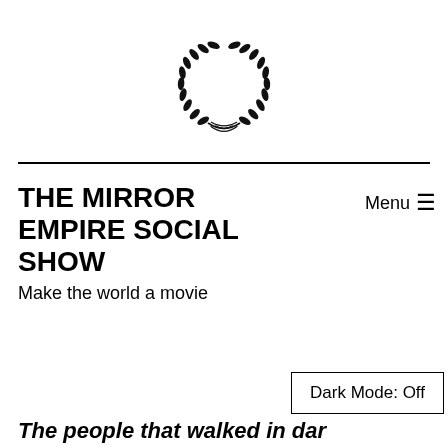[Figure (logo): Laurel wreath logo centered at top of page, black on white]
THE MIRROR EMPIRE SOCIAL SHOW
Make the world a movie
Menu ☰
Dark Mode: Off
The people that walked in dar